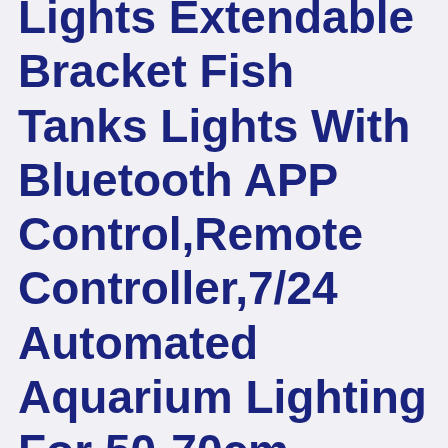Lights Extendable Bracket Fish Tanks Lights With Bluetooth APP Control,Remote Controller,7/24 Automated Aquarium Lighting For 50-70cm Aquarium Tank Plant